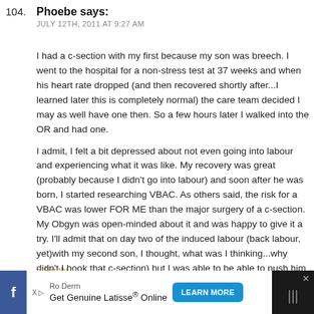104.
Phoebe says:
JULY 12TH, 2011 AT 9:27 AM
I had a c-section with my first because my son was breech. I went to the hospital for a non-stress test at 37 weeks and when his heart rate dropped (and then recovered shortly after...I learned later this is completely normal) the care team decided I may as well have one then. So a few hours later I walked into the OR and had one.
I admit, I felt a bit depressed about not even going into labour and experiencing what it was like. My recovery was great (probably because I didn't go into labour) and soon after he was born, I started researching VBAC. As others said, the risk for a VBAC was lower FOR ME than the major surgery of a c-section. My Obgyn was open-minded about it and was happy to give it a try. I'll admit that on day two of the induced labour (back labour, yet)with my second son, I thought, what was I thinking...why didn't I book that c-section) but I was able to push him out. Looking back at both deliveries, one didn't trump the other but I was happy to have experienced both.
> Reply
[Figure (screenshot): Advertisement bar at bottom: Facebook icon on left, Ro Derm ad with 'Get Genuine Latisse® Online' text and 'LEARN MORE' blue button, close X button on right side]